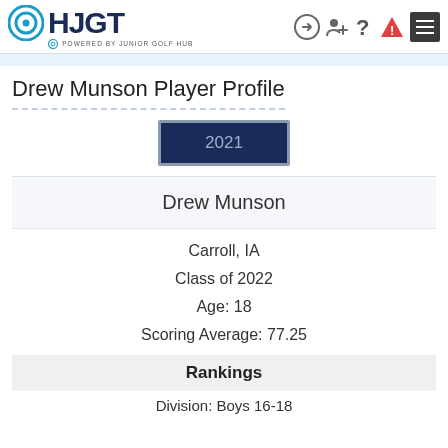HJGT powered by JUNIOR GOLF HUB
Drew Munson Player Profile
2021
Drew Munson
Carroll, IA
Class of 2022
Age: 18
Scoring Average: 77.25
Rankings
Division: Boys 16-18